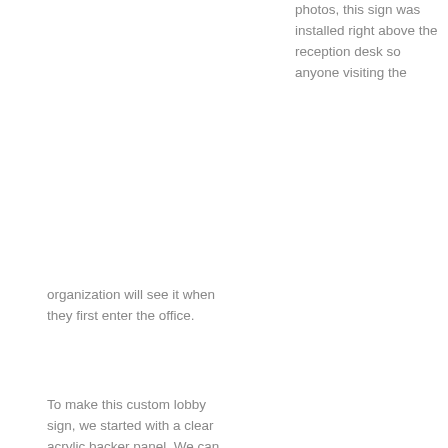photos, this sign was installed right above the reception desk so anyone visiting the
organization will see it when they first enter the office.
To make this custom lobby sign, we started with a clear acrylic backer panel. We can put a logo directly onto a wall, or mount it on a backer panel